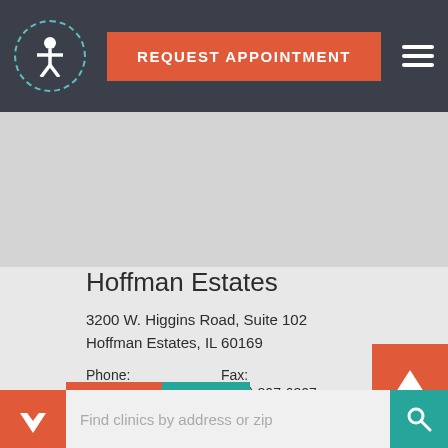REQUEST APPOINTMENT
[Figure (screenshot): Map view placeholder showing a grayed-out map area]
Hoffman Estates
3200 W. Higgins Road, Suite 102
Hoffman Estates, IL 60169
Phone:
(847) 807-6800
Fax:
(847) 807-6807
INFO   MAP
Find clinics by address or zip